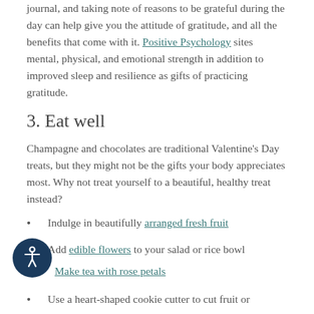journal, and taking note of reasons to be grateful during the day can help give you the attitude of gratitude, and all the benefits that come with it. Positive Psychology sites mental, physical, and emotional strength in addition to improved sleep and resilience as gifts of practicing gratitude.
3. Eat well
Champagne and chocolates are traditional Valentine's Day treats, but they might not be the gifts your body appreciates most. Why not treat yourself to a beautiful, healthy treat instead?
Indulge in beautifully arranged fresh fruit
Add edible flowers to your salad or rice bowl
Make tea with rose petals
Use a heart-shaped cookie cutter to cut fruit or